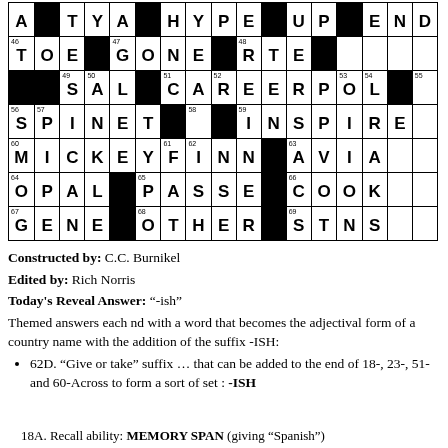[Figure (other): Partial crossword puzzle grid showing rows with letters and black squares. Visible answers include: ATYA, HYPE, UPEND, TOE, GONE, RTE, SAL, CAREER, POL, SPINET, INSPIRE, MICKEY, FINN, AVIA, OPAL, PASSE, COOK, GENE, OTHER, STNS. Clue numbers visible: 46,47,48,49,50,51,52,53,54,55,56,57,58,59,60,61,62,63,64,65,66,67,68,69]
Constructed by: C.C. Burnikel
Edited by: Rich Norris
Today's Reveal Answer: “-ish”
Themed answers each nd with a word that becomes the adjectival form of a country name with the addition of the suffix -ISH:
62D. “Give or take” suffix … that can be added to the end of 18-, 23-, 51- and 60-Across to form a sort of set : -ISH
18A. Recall ability: MEMORY SPAN (giving “Spanish”)